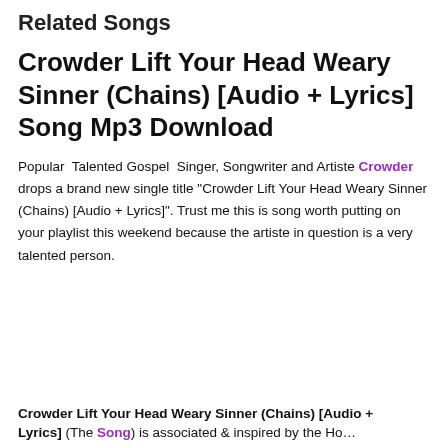Related Songs
Crowder Lift Your Head Weary Sinner (Chains) [Audio + Lyrics] Song Mp3 Download
Popular  Talented Gospel  Singer, Songwriter and Artiste Crowder drops a brand new single title "Crowder Lift Your Head Weary Sinner (Chains) [Audio + Lyrics]". Trust me this is song worth putting on your playlist this weekend because the artiste in question is a very talented person.
Crowder Lift Your Head Weary Sinner (Chains) [Audio + Lyrics] (The Song) is associated & inspired by the Holy…